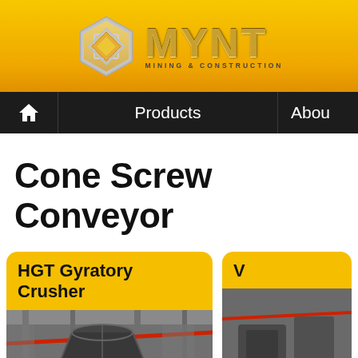[Figure (logo): MYNT Mining & Construction company logo with hexagonal icon and metallic gold MYNT text]
Products | About
Cone Screw Conveyor
[Figure (photo): HGT Gyratory Crusher product card with photo of a large industrial gyratory crusher in a facility]
[Figure (photo): Partially visible second product card on the right side]